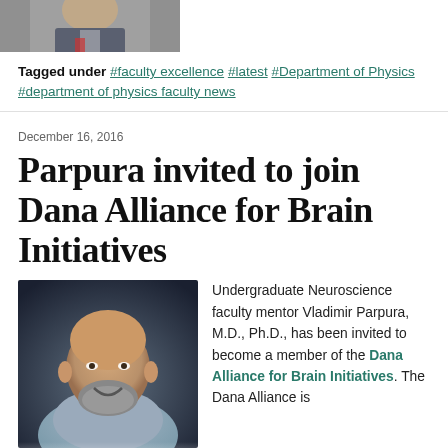[Figure (photo): Partial portrait photo at top of page, cropped showing lower part of a person in a suit with a tie]
Tagged under #faculty excellence #latest #Department of Physics #department of physics faculty news
December 16, 2016
Parpura invited to join Dana Alliance for Brain Initiatives
[Figure (photo): Portrait photo of Vladimir Parpura, a bald man with a beard, smiling, wearing a light blue shirt, photographed against a dark background]
Undergraduate Neuroscience faculty mentor Vladimir Parpura, M.D., Ph.D., has been invited to become a member of the Dana Alliance for Brain Initiatives. The Dana Alliance is a non-profit organization whose mission is to advance public education about the progress and benefits of brain research.
Back to Top